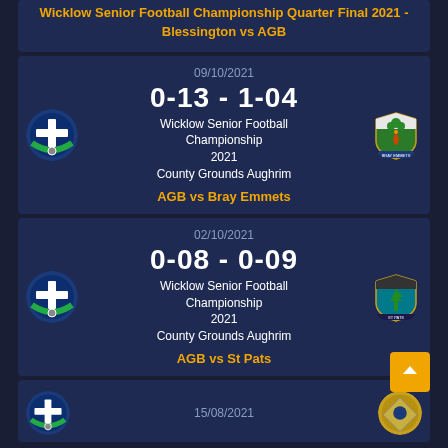Wicklow Senior Football Championship Quarter Final 2021 - Blessington vs AGB
09/10/2021
0-13 - 1-04
Wicklow Senior Football Championship 2021
County Grounds Aughrim
AGB vs Bray Emmets
02/10/2021
0-08 - 0-09
Wicklow Senior Football Championship 2021
County Grounds Aughrim
AGB vs St Pats
15/08/2021